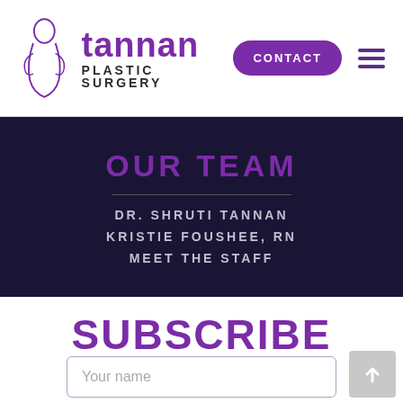[Figure (logo): Tannan Plastic Surgery logo with stylized female silhouette icon in purple, brand name 'tannan' in large purple text and 'PLASTIC SURGERY' in bold black below]
CONTACT
OUR TEAM
DR. SHRUTI TANNAN
KRISTIE FOUSHEE, RN
MEET THE STAFF
SUBSCRIBE
for the latest updates and specials!
Your name